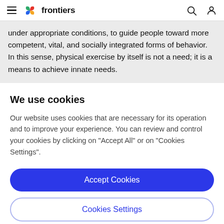frontiers
under appropriate conditions, to guide people toward more competent, vital, and socially integrated forms of behavior. In this sense, physical exercise by itself is not a need; it is a means to achieve innate needs.
We use cookies
Our website uses cookies that are necessary for its operation and to improve your experience. You can review and control your cookies by clicking on "Accept All" or on "Cookies Settings".
Accept Cookies
Cookies Settings